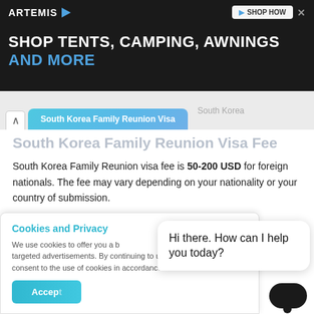[Figure (screenshot): Advertisement banner for Artemis: SHOP TENTS, CAMPING, AWNINGS AND MORE with SHOP NOW button]
South Korea Family Reunion Visa | South Korea
South Korea Family Reunion Visa Fee
South Korea Family Reunion visa fee is 50-200 USD for foreign nationals. The fee may vary depending on your nationality or your country of submission.
Where to Apply for South Korea Family Reunion Visa?
Cookies and Privacy
We use cookies to offer you a better experience and to serve targeted advertisements. By continuing to use this website, you consent to the use of cookies in accordance with our Cookie Policy
Hi there. How can I help you today?
consulate to your location.